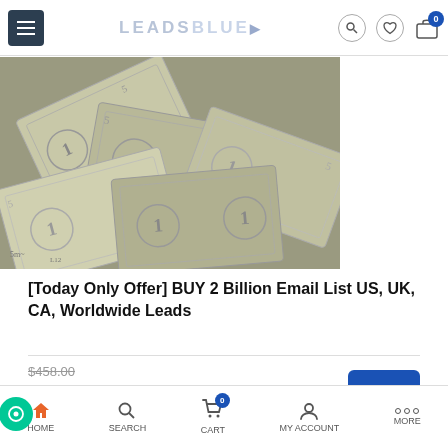LEADSBLUE
[Figure (photo): Close-up photograph of multiple US dollar bills ($1 and $5) scattered and overlapping, shown in greyscale/sepia tone]
[Today Only Offer] BUY 2 Billion Email List US, UK, CA, Worldwide Leads
$458.00
$25.00 /
₿ 0.02130164
₿ 0.00116275
-95% OFF
HOME  SEARCH  CART  MY ACCOUNT  MORE